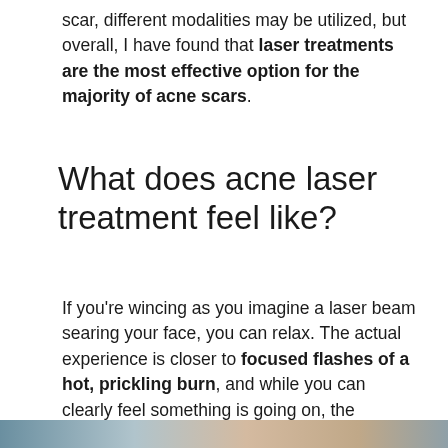scar, different modalities may be utilized, but overall, I have found that laser treatments are the most effective option for the majority of acne scars.
What does acne laser treatment feel like?
If you're wincing as you imagine a laser beam searing your face, you can relax. The actual experience is closer to focused flashes of a hot, prickling burn, and while you can clearly feel something is going on, the sensation isn't intense enough to warrant numbing cream, anesthetic, or even ibuprofen.
[Figure (photo): Partial photo strip at the bottom of the page, cropped]